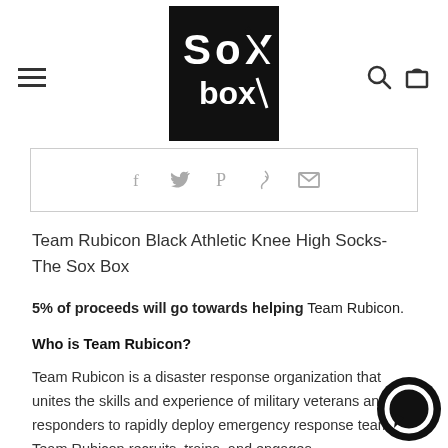Sox Box - navigation header with hamburger menu, logo, search and cart icons
[Figure (other): Social share icons bar: Facebook, Twitter, Pinterest, Fancy, Email]
Team Rubicon Black Athletic Knee High Socks- The Sox Box
5% of proceeds will go towards helping Team Rubicon.
Who is Team Rubicon?
Team Rubicon is a disaster response organization that unites the skills and experience of military veterans and first responders to rapidly deploy emergency response teams. Team Rubicon recruits, trains, and engages